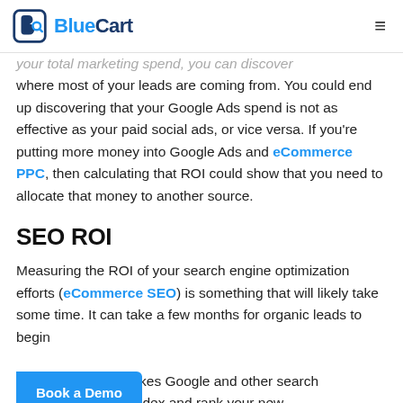BlueCart
your total marketing spend, you can discover where most of your leads are coming from. You could end up discovering that your Google Ads spend is not as effective as your paid social ads, or vice versa. If you're putting more money into Google Ads and eCommerce PPC, then calculating that ROI could show that you need to allocate that money to another source.
SEO ROI
Measuring the ROI of your search engine optimization efforts (eCommerce SEO) is something that will likely take some time. It can take a few months for organic leads to begin as it takes Google and other search engines a while to index and rank your new